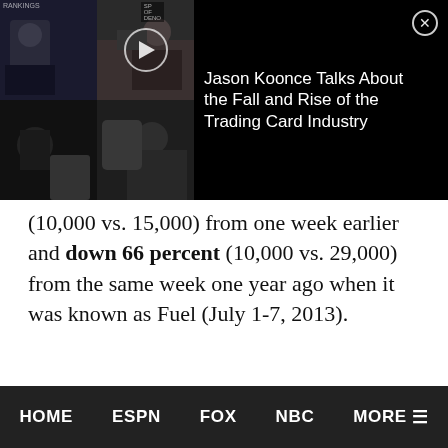[Figure (screenshot): Video player overlay showing thumbnails of podcast/show guests and title 'Jason Koonce Talks About the Fall and Rise of the Trading Card Industry' with a close button]
(10,000 vs. 15,000) from one week earlier and down 66 percent (10,000 vs. 29,000) from the same week one year ago when it was known as Fuel (July 1-7, 2013).
Source: Nielsen Media Research
[Figure (logo): Son of the Bronx logo - circular logo with red/yellow/blue design showing a figure]
About Douglas Pucci
HOME   ESPN   FOX   NBC   MORE